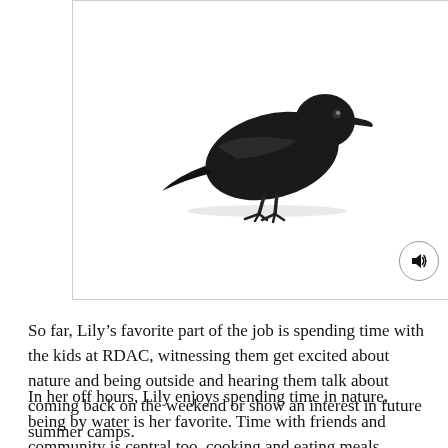[Figure (illustration): A black crow or raven standing on the ground, facing left, with its head tilted downward. Below the bird image is a circular speaker/audio button icon in the bottom-right corner of the image box.]
So far, Lily’s favorite part of the job is spending time with the kids at RDAC, witnessing them get excited about nature and being outside and hearing them talk about coming back on the weekend or show an interest in future summer camps.
In her off hours, Lily enjoys spending time in nature, being by water is her favorite. Time with friends and community is central too, cooking and eating meals together especially. She also loves to dance in her living room!